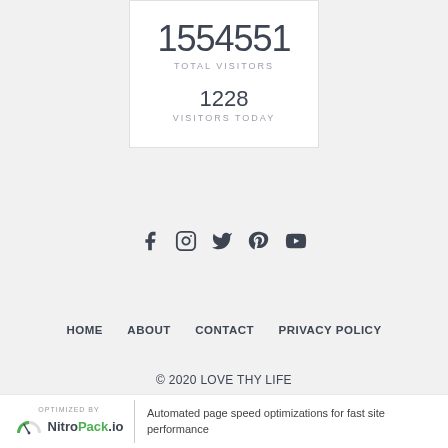[Figure (infographic): Visitor counter widget showing 1554551 total visitors and 1228 visitors today in a white card]
[Figure (infographic): Row of social media icons: Facebook, Instagram, Twitter, Pinterest, YouTube]
HOME    ABOUT    CONTACT    PRIVACY POLICY
© 2020 LOVE THY LIFE
OPTIMIZED BY NitroPack.io    Automated page speed optimizations for fast site performance